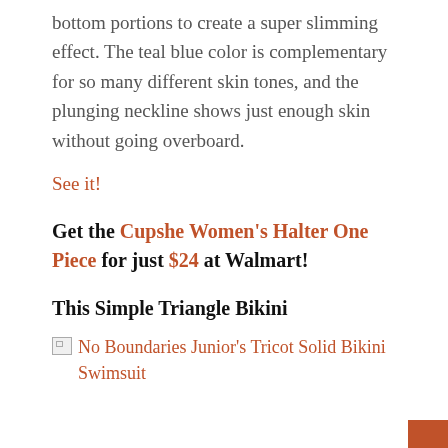bottom portions to create a super slimming effect. The teal blue color is complementary for so many different skin tones, and the plunging neckline shows just enough skin without going overboard.
See it!
Get the Cupshe Women's Halter One Piece for just $24 at Walmart!
This Simple Triangle Bikini
[Figure (photo): Broken image placeholder with alt text: No Boundaries Junior's Tricot Solid Bikini Swimsuit]